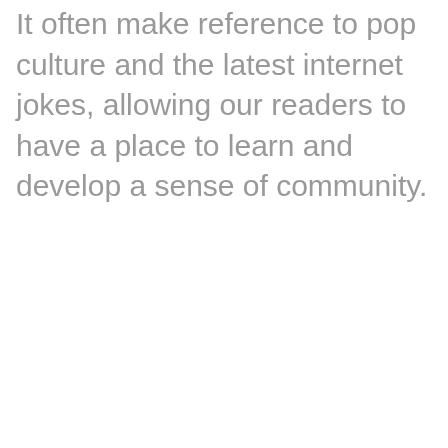It often make reference to pop culture and the latest internet jokes, allowing our readers to have a place to learn and develop a sense of community.